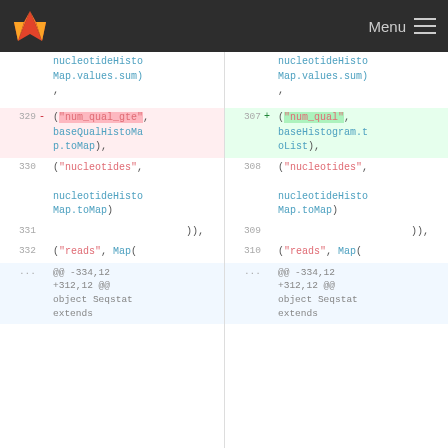Menu
[Figure (screenshot): GitLab diff view showing two-panel side-by-side diff of Scala code. Left panel shows removed lines (329-332) with red background, right panel shows added lines (307-310) with green background. Code involves nucleotideHistoMap, baseQualHistoMap, and reads Map structures in Scala.]
329 - ("num_qual_gte", baseQualHistoMap.toMap),
307 + ("num_qual", baseHistogram.toList),
330   ("nucleotides", nucleotideHistoMap.toMap)
308   ("nucleotides", nucleotideHistoMap.toMap)
331   )),
309   )),
332   ("reads", Map(
310   ("reads", Map(
... @@ -334,12 +312,12 @@ object Seqstat extends
... @@ -334,12 +312,12 @@ object Seqstat extends